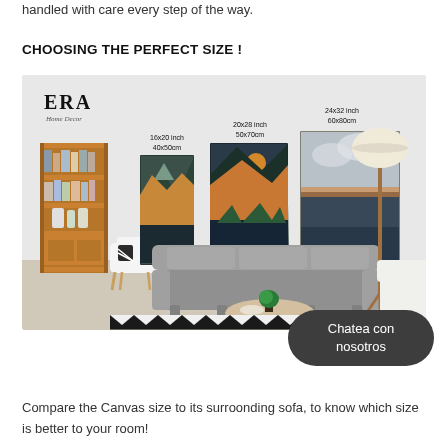handled with care every step of the way.
CHOOSING THE PERFECT SIZE !
[Figure (photo): Living room scene showing three canvas prints of mountain landscapes in different sizes (16x20 inch / 40x50cm, 20x28 inch / 50x70cm, 24x32 inch / 60x80cm) hanging on a wall above a grey sofa, with a bookshelf, chair, lamp and coffee table. ERA Home Decor logo in top left.]
Chatea con nosotros
Compare the Canvas size to its surrounding sofa, to know which size is better to your room!